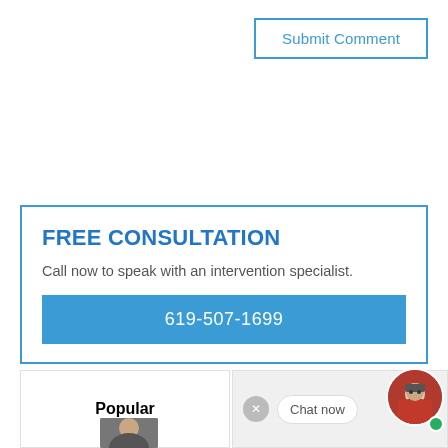Submit Comment
FREE CONSULTATION
Call now to speak with an intervention specialist.
619-507-1699
Popular
Chat now